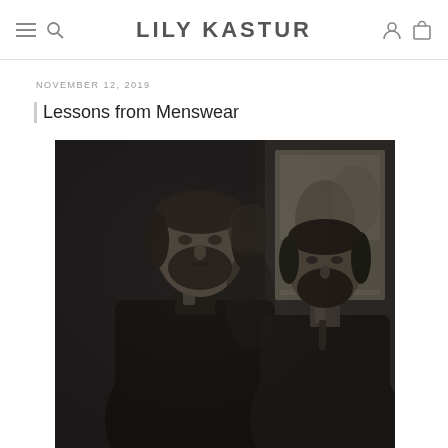LILY KASTUR
NOVEMBER 12, 2019
Lessons from Menswear
[Figure (photo): A dark, painterly black-and-white image depicting two men in formal dark clothing, likely from the early 20th century. The left man faces forward with a beard and dark suit; the right man stands slightly behind, also bearded and wearing a suit with a tie. The background is dark and indistinct.]